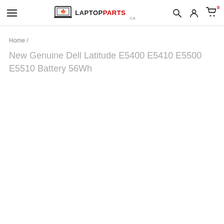LAPTOPPARTS.CA
Home /
New Genuine Dell Latitude E5400 E5410 E5500 E5510 Battery 56Wh